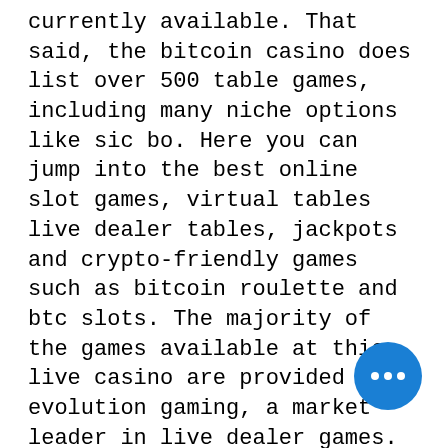currently available. That said, the bitcoin casino does list over 500 table games, including many niche options like sic bo. Here you can jump into the best online slot games, virtual tables live dealer tables, jackpots and crypto-friendly games such as bitcoin roulette and btc slots. The majority of the games available at this live casino are provided by evolution gaming, a market leader in live dealer games. Apr 27, 2018 - an in-depth review of fortunejack casino's bonuses, codes, promos, games, and bitcoin &amp; all cryptocurrency payment options. Completely instant-play; diverse range of slots from multiple platforms; compatible with many mobile devices; uses bitcoin for safe and instant deposits and
If you create an account using fake info, the account will be immediately suspended. bitcoin casino askgamblers.
Since if you decided to another deposit.
From the real money. Wagering requirement
[Figure (other): Blue circular chat button with three white dots]